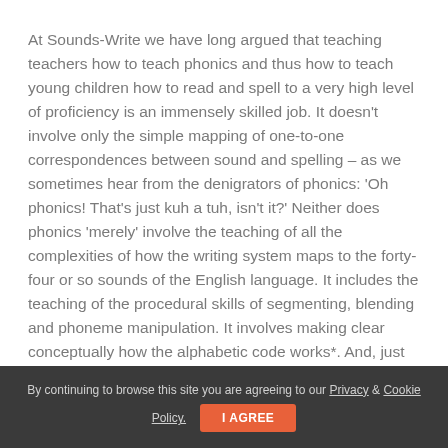At Sounds-Write we have long argued that teaching teachers how to teach phonics and thus how to teach young children how to read and spell to a very high level of proficiency is an immensely skilled job. It doesn't involve only the simple mapping of one-to-one correspondences between sound and spelling – as we sometimes hear from the denigrators of phonics: 'Oh phonics! That's just kuh a tuh, isn't it?' Neither does phonics 'merely' involve the teaching of all the complexities of how the writing system maps to the forty-four or so sounds of the English language. It includes the teaching of the procedural skills of segmenting, blending and phoneme manipulation. It involves making clear conceptually how the alphabetic code works*. And, just as importantly, teachers need to
By continuing to browse this site you are agreeing to our Privacy & Cookie Policy. I AGREE